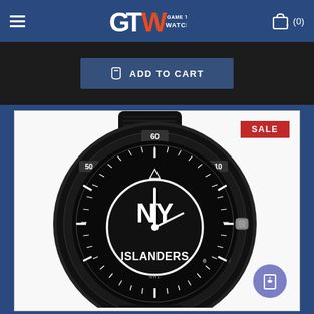GTW Game Time Watches
[Figure (screenshot): Add to Cart button on dark background]
[Figure (photo): New York Islanders NHL sport watch with black rubber strap, black face showing NY Islanders logo, white hour markers and numbers (10, 20, 30, 40, 50, 60), SALE badge in upper right corner, shopping bag with heart icon in lower right corner]